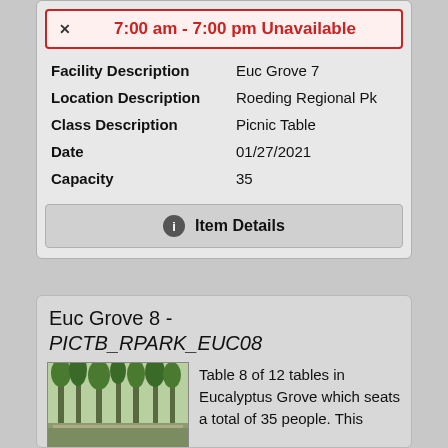7:00 am - 7:00 pm Unavailable
| Field | Value |
| --- | --- |
| Facility Description | Euc Grove 7 |
| Location Description | Roeding Regional Pk |
| Class Description | Picnic Table |
| Date | 01/27/2021 |
| Capacity | 35 |
Item Details
Euc Grove 8 - PICTB_RPARK_EUC08
[Figure (photo): Photo of eucalyptus grove with trees and picnic tables visible]
Table 8 of 12 tables in Eucalyptus Grove which seats a total of 35 people. This